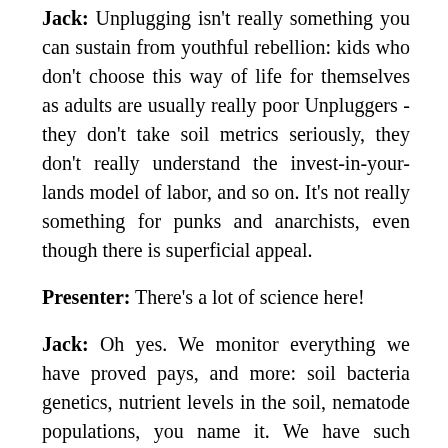Jack: Unplugging isn't really something you can sustain from youthful rebellion: kids who don't choose this way of life for themselves as adults are usually really poor Unpluggers - they don't take soil metrics seriously, they don't really understand the invest-in-your-lands model of labor, and so on. It's not really something for punks and anarchists, even though there is superficial appeal.
Presenter: There's a lot of science here!
Jack: Oh yes. We monitor everything we have proved pays, and more: soil bacteria genetics, nutrient levels in the soil, nematode populations, you name it. We have such excellent yields and pest control because we don't move around much - we